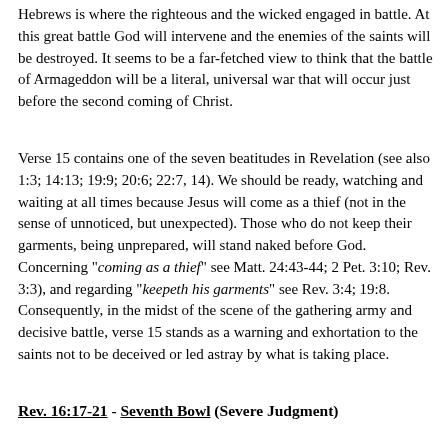Hebrews is where the righteous and the wicked engaged in battle. At this great battle God will intervene and the enemies of the saints will be destroyed. It seems to be a far-fetched view to think that the battle of Armageddon will be a literal, universal war that will occur just before the second coming of Christ.
Verse 15 contains one of the seven beatitudes in Revelation (see also 1:3; 14:13; 19:9; 20:6; 22:7, 14). We should be ready, watching and waiting at all times because Jesus will come as a thief (not in the sense of unnoticed, but unexpected). Those who do not keep their garments, being unprepared, will stand naked before God. Concerning "coming as a thief" see Matt. 24:43-44; 2 Pet. 3:10; Rev. 3:3), and regarding "keepeth his garments" see Rev. 3:4; 19:8. Consequently, in the midst of the scene of the gathering army and decisive battle, verse 15 stands as a warning and exhortation to the saints not to be deceived or led astray by what is taking place.
Rev. 16:17-21 - Seventh Bowl (Severe Judgment)